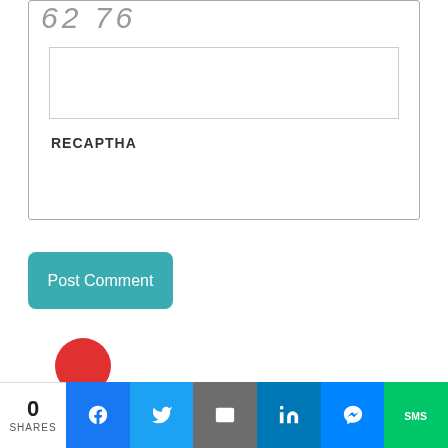[Figure (screenshot): CAPTCHA widget with a text input box and label 'RECAPTHA']
RECAPTHA
Post Comment
0 SHARES | Facebook | Twitter | Email | LinkedIn | Messenger | SMS